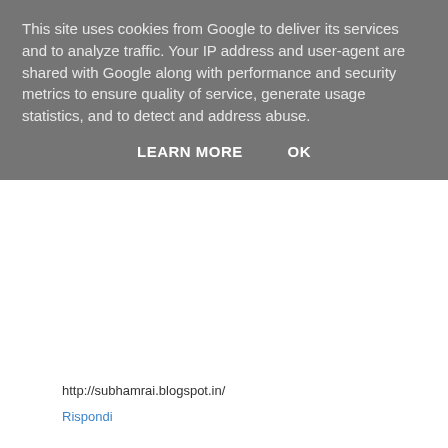This site uses cookies from Google to deliver its services and to analyze traffic. Your IP address and user-agent are shared with Google along with performance and security metrics to ensure quality of service, generate usage statistics, and to detect and address abuse.
LEARN MORE   OK
http://subhamrai.blogspot.in/
Rispondi
Starlingdays  4 agosto 2014 19:39
Nice post!
Tasty review of Kiev Pie Restaurant
http://starlingdays.blogspot.com/2014/08/blog-post.html
Rispondi
outfitvandedag  4 agosto 2014 19:48